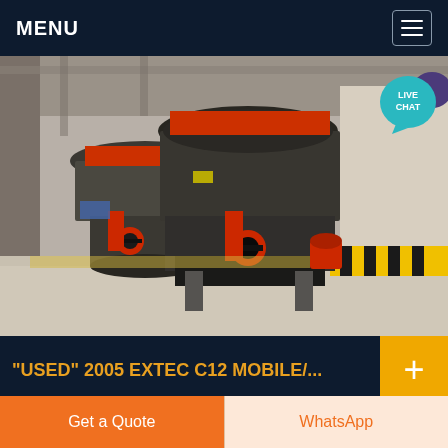MENU
[Figure (photo): Industrial cone crushers in a facility, large grey cylindrical machines with red accents on a gravel floor, shot from a low angle looking down a long hall]
"USED" 2005 EXTEC C12 MOBILE/...
02/04/2021 · used 2005 extec c12 heavy duty
Get a Quote
WhatsApp